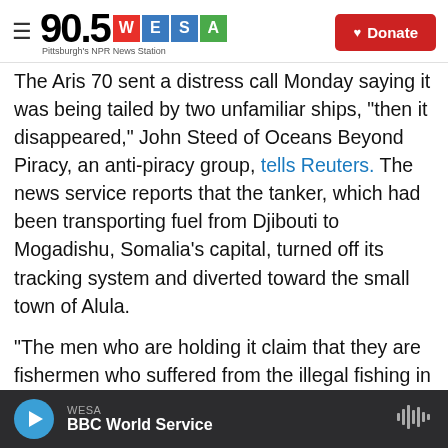90.5 WESA – Pittsburgh's NPR News Station | Donate
The Aris 70 sent a distress call Monday saying it was being tailed by two unfamiliar ships, "then it disappeared," John Steed of Oceans Beyond Piracy, an anti-piracy group, tells Reuters. The news service reports that the tanker, which had been transporting fuel from Djibouti to Mogadishu, Somalia's capital, turned off its tracking system and diverted toward the small town of Alula.
"The men who are holding it claim that they are fishermen who suffered from the illegal fishing in the area," Ali Shire Mohamud Osman, the district commissioner in the town of Alula, tells the BBC. "However, if we confirm that they are pirates, I will
WESA | BBC World Service